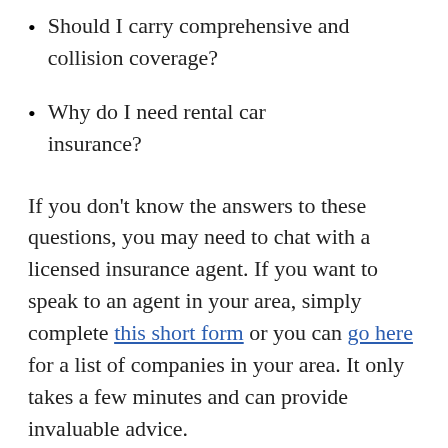Should I carry comprehensive and collision coverage?
Why do I need rental car insurance?
If you don't know the answers to these questions, you may need to chat with a licensed insurance agent. If you want to speak to an agent in your area, simply complete this short form or you can go here for a list of companies in your area. It only takes a few minutes and can provide invaluable advice.
In formatting or arrangement?